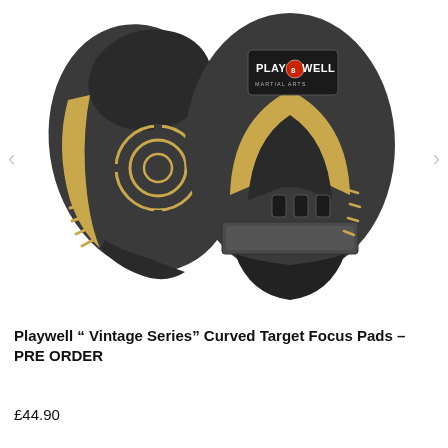[Figure (photo): Two Playwell Vintage Series curved target focus pads in black and gold coloring. The left pad shows the back with a circular target design. The right pad shows the front with a Playwell Martial Arts logo patch, gold trim, finger slots, and wrist strap.]
Playwell " Vintage Series" Curved Target Focus Pads – PRE ORDER
£44.90